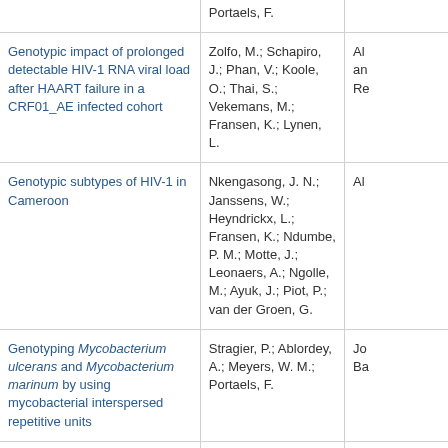| Title | Authors | Extra |
| --- | --- | --- |
|  | Portaels, F. |  |
| Genotypic impact of prolonged detectable HIV-1 RNA viral load after HAART failure in a CRF01_AE infected cohort | Zolfo, M.; Schapiro, J.; Phan, V.; Koole, O.; Thai, S.; Vekemans, M.; Fransen, K.; Lynen, L. | Al... an... Re... |
| Genotypic subtypes of HIV-1 in Cameroon | Nkengasong, J. N.; Janssens, W.; Heyndrickx, L.; Fransen, K.; Ndumbe, P. M.; Motte, J.; Leonaers, A.; Ngolle, M.; Ayuk, J.; Piot, P.; van der Groen, G. | Al... |
| Genotyping Mycobacterium ulcerans and Mycobacterium marinum by using mycobacterial interspersed repetitive units | Stragier, P.; Ablordey, A.; Meyers, W. M.; Portaels, F. | Jo... Ba... |
| Genotyping of HIV-1 in anti-HIV-1 sero-positive plasma | Ping, Z.; Guizheng, L.; Wei, Z.; Fransen, K.; Heyndrickx, L.; Janssens, W.; van der Groen, G. | Vi... |
| Gentian violet, ketoconazole and nystatin in oropharyngeal and esophageal candidiasis in Zaïrian AIDS patients | Nyst, M. J.; Perriëns, J. H.; Lusakumunu Kimputu; Musongela Lumbila; Nelson, A. M.; Piot, P. | An... So... Me... Tr... |